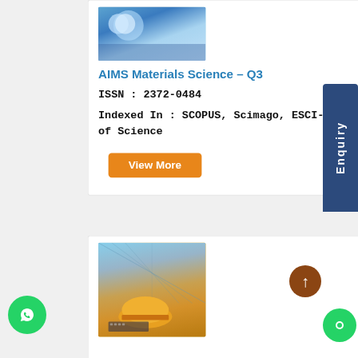[Figure (photo): Journal cover image with blue/teal abstract material science imagery]
AIMS Materials Science – Q3
ISSN : 2372-0484
Indexed In : SCOPUS, Scimago, ESCI-Web of Science
View More
[Figure (photo): Construction site photo with yellow hard hat, keyboard, blueprints, and scaffolding in background]